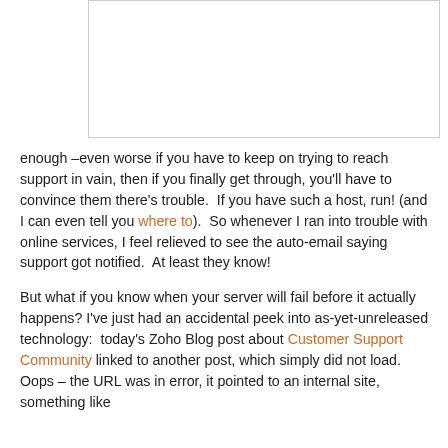[Figure (other): Empty white box with border, likely a placeholder image or screenshot area]
enough –even worse if you have to keep on trying to reach support in vain, then if you finally get through, you'll have to convince them there's trouble.  If you have such a host, run! (and I can even tell you where to).  So whenever I ran into trouble with online services, I feel relieved to see the auto-email saying support got notified.  At least they know!
But what if you know when your server will fail before it actually happens? I've just had an accidental peek into as-yet-unreleased technology:  today's Zoho Blog post about Customer Support Community linked to another post, which simply did not load. Oops – the URL was in error, it pointed to an internal site, something like